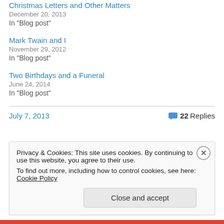Christmas Letters and Other Matters
December 20, 2013
In "Blog post"
Mark Twain and I
November 29, 2012
In "Blog post"
Two Birthdays and a Funeral
June 24, 2014
In "Blog post"
July 7, 2013   22 Replies
Privacy & Cookies: This site uses cookies. By continuing to use this website, you agree to their use.
To find out more, including how to control cookies, see here: Cookie Policy
Close and accept